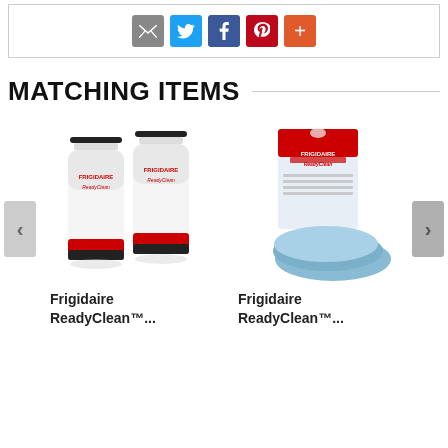[Figure (screenshot): Social sharing buttons: email (grey), Twitter (blue), Facebook (dark blue), Pinterest (red), More (orange-red)]
MATCHING ITEMS
[Figure (photo): Two Frigidaire ReadyClean bottles (cleaning product)]
Frigidaire ReadyClean™...
[Figure (photo): Frigidaire ReadyClean microfiber cloths with packaging]
Frigidaire ReadyClean™...